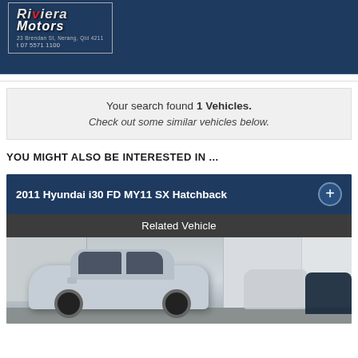[Figure (logo): Riviera Motors logo with phone number t 07 5571 1100 on dark navy header background]
Your search found 1 Vehicles. Check out some similar vehicles below.
YOU MIGHT ALSO BE INTERESTED IN ...
2011 Hyundai i30 FD MY11 SX Hatchback
Related Vehicle
[Figure (photo): Silver Hyundai i30 hatchback parked in a lot with other vehicles and buildings in background]